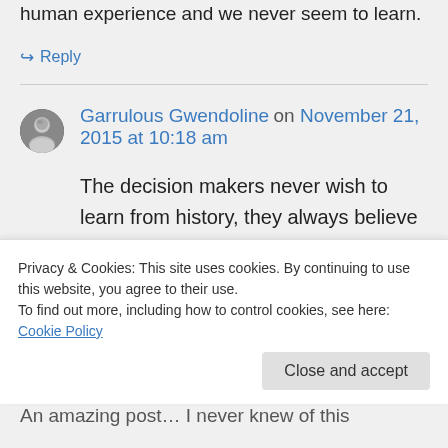human experience and we never seem to learn.
↪ Reply
Garrulous Gwendoline on November 21, 2015 at 10:18 am
The decision makers never wish to learn from history, they always believe they will be the ones to "make a difference".
Privacy & Cookies: This site uses cookies. By continuing to use this website, you agree to their use.
To find out more, including how to control cookies, see here: Cookie Policy
Close and accept
An amazing post… I never knew of this